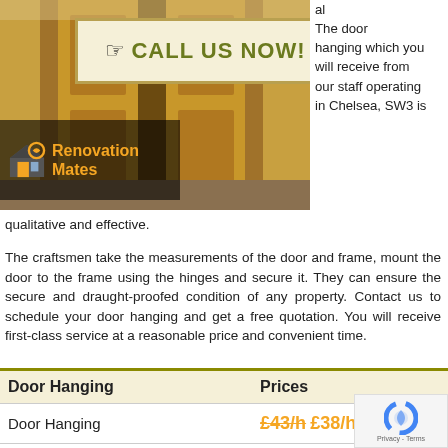[Figure (photo): Photo of wooden door frame / door hanging installation, with a 'CALL US NOW!' banner overlay and Renovation Mates logo]
al The door hanging which you will receive from our staff operating in Chelsea, SW3 is qualitative and effective.
The craftsmen take the measurements of the door and frame, mount the door to the frame using the hinges and secure it. They can ensure the secure and draught-proofed condition of any property. Contact us to schedule your door hanging and get a free quotation. You will receive first-class service at a reasonable price and convenient time.
| Door Hanging | Prices |
| --- | --- |
| Door Hanging | £43/h £38/h |
| Odd Jobs | £43/h £38/h |
| Furniture Assembly | £43/h £38/h |